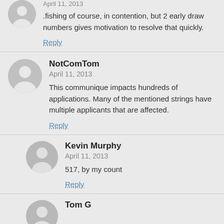.fishing of course, in contention, but 2 early draw numbers gives motivation to resolve that quickly.
Reply
NotComTom
April 11, 2013
This communique impacts hundreds of applications. Many of the mentioned strings have multiple applicants that are affected.
Reply
Kevin Murphy
April 11, 2013
517, by my count
Reply
Tom G